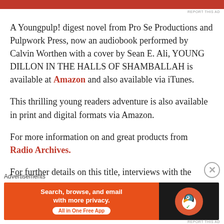[Figure (other): Red advertisement banner at top of page]
REPORT THIS AD
A Youngpulp! digest novel from Pro Se Productions and Pulpwork Press, now an audiobook performed by Calvin Worthen with a cover by Sean E. Ali, YOUNG DILLON IN THE HALLS OF SHAMBALLAH is available at Amazon and also available via iTunes.
This thrilling young readers adventure is also available in print and digital formats via Amazon.
For more information on and great products from Radio Archives.
For further details on this title, interviews with the author, or digital copies for review, email editorinchief@prose-prose.com
Advertisements
[Figure (other): DuckDuckGo advertisement banner: Search, browse, and email with more privacy. All in One Free App]
REPORT THIS AD